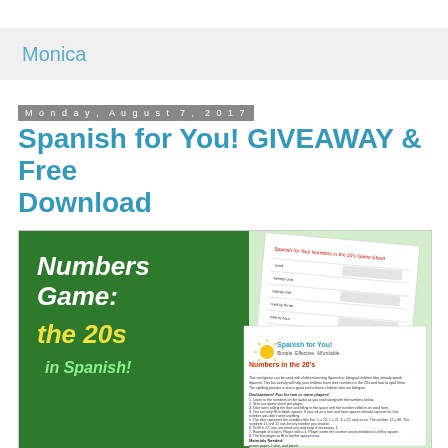Monica
Monday, August 7, 2017
Spanish for You! GIVEAWAY & Free Download
[Figure (illustration): Promotional image for 'Numbers Game: the 20s in Spanish!' showing a green card with bold yellow/white text and overlapping worksheet/activity sheets for Spanish for You! curriculum about Numbers in the 20s, with visible instructions and a sun logo.]